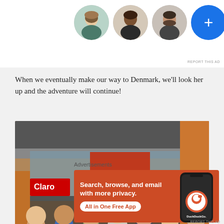[Figure (screenshot): Top portion of an advertisement showing four circular profile photos (three people and a blue plus button) on a white background, with 'REPORT THIS AD' text in the upper right corner.]
When we eventually make our way to Denmark, we'll look her up and the adventure will continue!
[Figure (photo): Group photo of seven young people standing in front of a store with a 'Claro' sign and orange walls.]
Advertisements
[Figure (screenshot): DuckDuckGo advertisement banner with orange background. Left side shows text 'Search, browse, and email with more privacy. All in One Free App' with a white CTA button. Right side shows a smartphone with DuckDuckGo logo and text.]